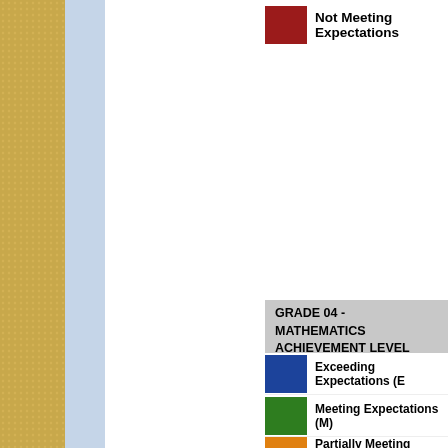[Figure (infographic): Left decorative border with gold dotted pattern and blue stripe]
Not Meeting Expectations
GRADE 04 - MATHEMATICS ACHIEVEMENT LEVEL
Exceeding Expectations (E)
Meeting Expectations (M)
Partially Meeting Expectations
Not Meeting Expectations
GRADE 03 - ENGLISH LANGUAGE ACHIEVEMENT LEVEL